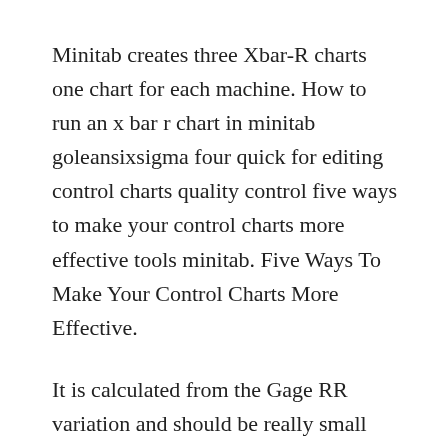Minitab creates three Xbar-R charts one chart for each machine. How to run an x bar r chart in minitab goleansixsigma four quick for editing control charts quality control five ways to make your control charts more effective tools minitab. Five Ways To Make Your Control Charts More Effective.
It is calculated from the Gage RR variation and should be really small and narrow. Peta kendali ini digunakan jika ingin mengetahui stabilitas suatu proses jika datanya adalah data variabel dan jika setiap data yang dikumpulkan dalam